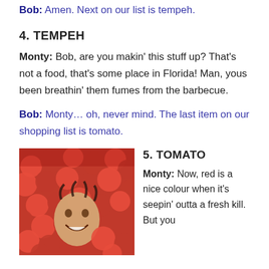Bob: Amen. Next on our list is tempeh.
4. TEMPEH
Monty: Bob, are you makin' this stuff up? That's not a food, that's some place in Florida! Man, yous been breathin' them fumes from the barbecue.
Bob: Monty… oh, never mind. The last item on our shopping list is tomato.
[Figure (photo): A man smiling while submerged in a large pile of red tomatoes.]
5. TOMATO
Monty: Now, red is a nice colour when it's seepin' outta a fresh kill. But you